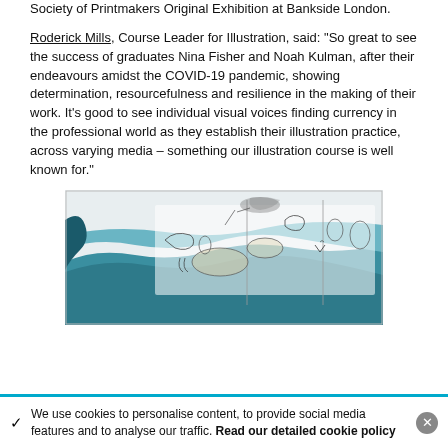Society of Printmakers Original Exhibition at Bankside London.
Roderick Mills, Course Leader for Illustration, said: "So great to see the success of graduates Nina Fisher and Noah Kulman, after their endeavours amidst the COVID-19 pandemic, showing determination, resourcefulness and resilience in the making of their work. It's good to see individual visual voices finding currency in the professional world as they establish their illustration practice, across varying media – something our illustration course is well known for."
[Figure (illustration): An illustration/print artwork showing a landscape with teal/blue watercolour tones depicting what appears to be a coastal or underwater scene with abstract line drawings of figures and organic shapes.]
We use cookies to personalise content, to provide social media features and to analyse our traffic. Read our detailed cookie policy